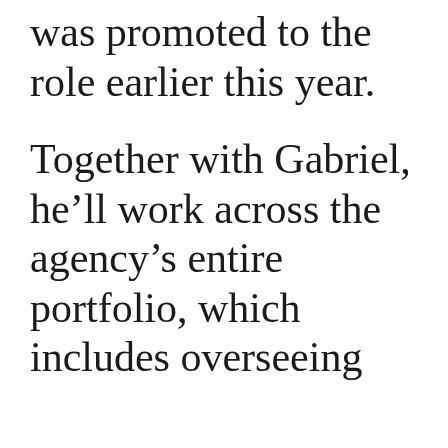was promoted to the role earlier this year. Together with Gabriel, he'll work across the agency's entire portfolio, which includes overseeing